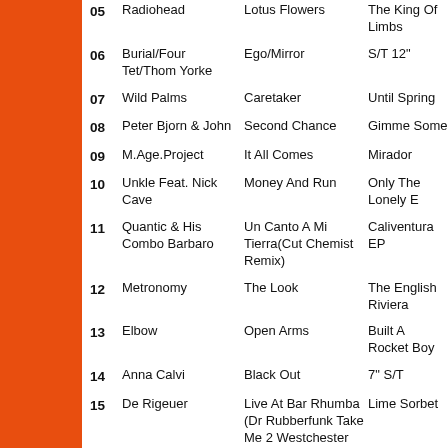05 Radiohead | Lotus Flowers | The King Of Limbs
06 Burial/Four Tet/Thom Yorke | Ego/Mirror | S/T 12"
07 Wild Palms | Caretaker | Until Spring
08 Peter Bjorn & John | Second Chance | Gimme Some
09 M.Age.Project | It All Comes | Mirador
10 Unkle Feat. Nick Cave | Money And Run | Only The Lonely E
11 Quantic & His Combo Barbaro | Un Canto A Mi Tierra(Cut Chemist Remix) | Caliventura EP
12 Metronomy | The Look | The English Riviera
13 Elbow | Open Arms | Built A Rocket Boy
14 Anna Calvi | Black Out | 7" S/T
15 De Rigeuer | Live At Bar Rhumba (Dr Rubberfunk Take Me 2 Westchester Remix) | Lime Sorbet
16 Noah And The Whale | L.I.F.E.G.O.E.S.O.N. | Last Night On Earth
17 Gorillaz | Revolving Doors | The Fall
18 Proviant Audio | Mushrooms | Four Years Later E